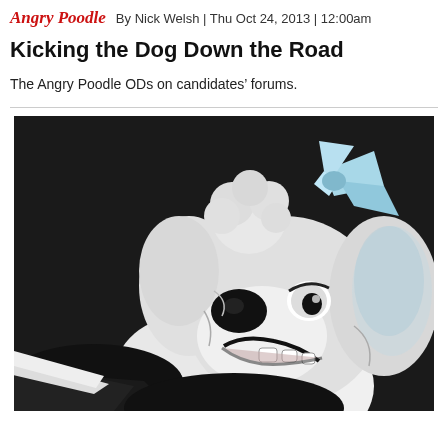Angry Poodle  By Nick Welsh | Thu Oct 24, 2013 | 12:00am
Kicking the Dog Down the Road
The Angry Poodle ODs on candidates’ forums.
[Figure (illustration): Black and white cartoon illustration of an angry poodle dog character close-up, with fluffy head, big eyes, and an open snarling mouth, set against a dark background with light blue accents on its fur/bow.]